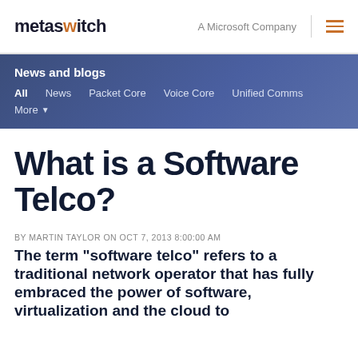metaswitch | A Microsoft Company
News and blogs
All
News
Packet Core
Voice Core
Unified Comms
More
What is a Software Telco?
BY MARTIN TAYLOR ON OCT 7, 2013 8:00:00 AM
The term "software telco" refers to a traditional network operator that has fully embraced the power of software, virtualization and the cloud to